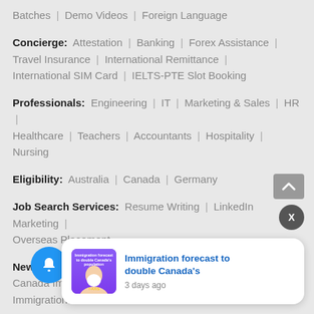Batches | Demo Videos | Foreign Language
Concierge: Attestation | Banking | Forex Assistance | Travel Insurance | International Remittance | International SIM Card | IELTS-PTE Slot Booking
Professionals: Engineering | IT | Marketing & Sales | HR | Healthcare | Teachers | Accountants | Hospitality | Nursing
Eligibility: Australia | Canada | Germany
Job Search Services: Resume Writing | LinkedIn Marketing | Overseas Placement
News: Australia Immigration News | Canada Immigration News | Visa Fraud News | Immigration Frau...
[Figure (screenshot): Notification popup with thumbnail image and text 'Immigration forecast to double Canada's population' with '3 days ago' timestamp]
[Figure (screenshot): Blue notification bell button with badge showing '2', and grey scroll-to-top arrow button, and grey X dismiss button]